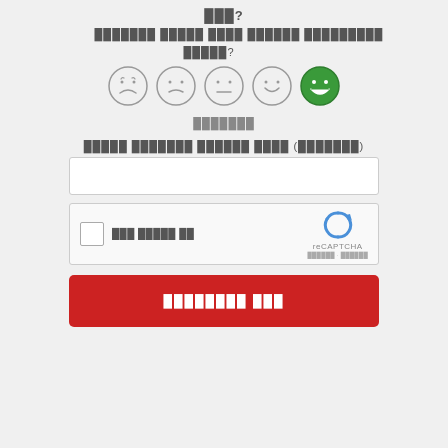███?
███████ █████ ████ ██████ █████████ █████?
[Figure (other): Five emoji face rating scale from very sad to very happy (green). The rightmost happy face is selected/highlighted in green.]
███████
█████ ███████ ██████ ████ (███████)
[Figure (other): Text input box (empty)]
[Figure (other): reCAPTCHA widget with checkbox and 'אני לא רובוט' text]
█████████ ███